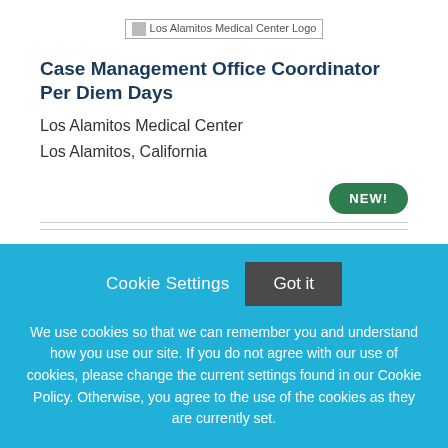[Figure (logo): Los Alamitos Medical Center Logo]
Case Management Office Coordinator Per Diem Days
Los Alamitos Medical Center
Los Alamitos, California
NEW!
Cookie Settings  Got it
We use cookies so that we can remember you and understand how you use our site. If you do not agree with our use of cookies, please change the current settings found in our Cookie Policy. Otherwise, you agree to the use of the cookies as they are currently set.